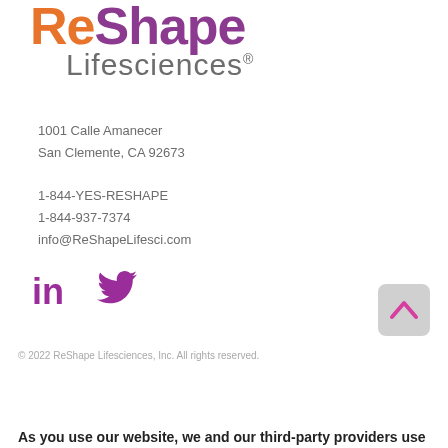[Figure (logo): ReShape Lifesciences logo with orange 'Re' and purple 'Shape' text, and gray 'Lifesciences' below]
1001 Calle Amanecer
San Clemente, CA 92673
1-844-YES-RESHAPE
1-844-937-7374
info@ReShapeLifesci.com
[Figure (illustration): LinkedIn and Twitter social media icons in purple/magenta color]
© 2022 ReShape Lifesciences, Inc. All rights reserved.
As you use our website, we and our third-party providers use